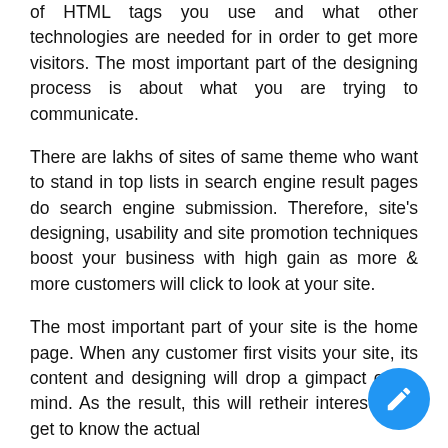of HTML tags you use and what other technologies are needed for in order to get more visitors. The most important part of the designing process is about what you are trying to communicate.
There are lakhs of sites of same theme who want to stand in top lists in search engine result pages do search engine submission. Therefore, site's designing, usability and site promotion techniques boost your business with high gain as more & more customers will click to look at your site.
The most important part of your site is the home page. When any customer first visits your site, its content and designing will drop a great impact on its mind. As the result, this will retain their interest, they get to know the actual
[Figure (other): Blue circular floating action button with a pencil/edit icon]